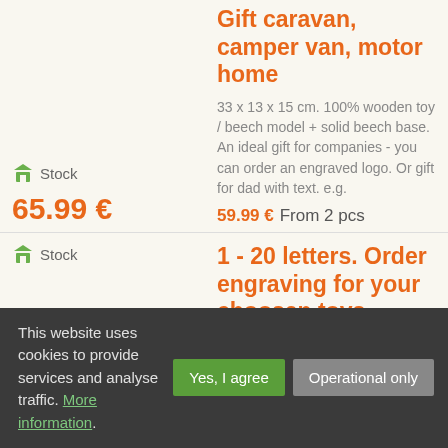Stock
Gift caravan, camper van, motor home
33 x 13 x 15 cm. 100% wooden toy / beech model + solid beech base. An ideal gift for companies - you can order an engraved logo. Or gift for dad with text. e.g.
65.99 €
59.99 € From 2 pcs
Stock
1 - 20 letters. Order engraving for your choosen toys.
The selected wooden toy can be ordered with engraving text. Write your text to the note in basket of e-shop your order.
12.99 €
12.99 € From 2 pcs
This website uses cookies to provide services and analyse traffic. More information.